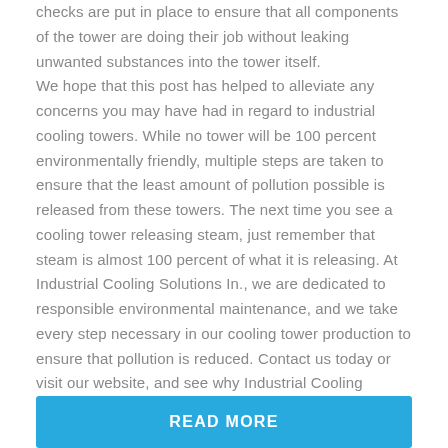checks are put in place to ensure that all components of the tower are doing their job without leaking unwanted substances into the tower itself.
We hope that this post has helped to alleviate any concerns you may have had in regard to industrial cooling towers. While no tower will be 100 percent environmentally friendly, multiple steps are taken to ensure that the least amount of pollution possible is released from these towers. The next time you see a cooling tower releasing steam, just remember that steam is almost 100 percent of what it is releasing. At Industrial Cooling Solutions In., we are dedicated to responsible environmental maintenance, and we take every step necessary in our cooling tower production to ensure that pollution is reduced. Contact us today or visit our website, and see why Industrial Cooling Solutions Inc. is a trusted provider of cooling tower solutions around the world.
READ MORE